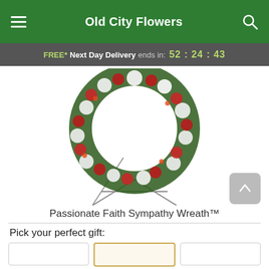Old City Flowers
FREE* Next Day Delivery ends in: 52:24:43
[Figure (photo): Passionate Faith Sympathy Wreath on an easel stand, featuring red roses and white carnations arranged in a circular wreath shape with green foliage]
Passionate Faith Sympathy Wreath™
Pick your perfect gift:
[Three gift option selection boxes, middle one selected/highlighted]